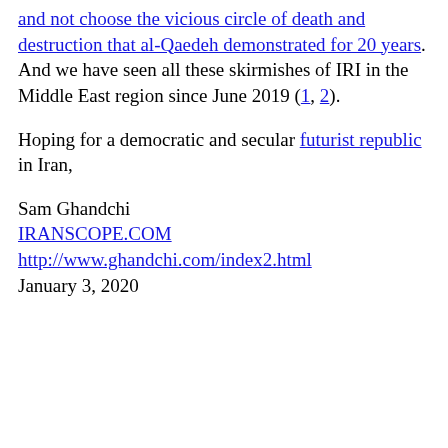and not choose the vicious circle of death and destruction that al-Qaedeh demonstrated for 20 years. And we have seen all these skirmishes of IRI in the Middle East region since June 2019 (1, 2).
Hoping for a democratic and secular futurist republic in Iran,
Sam Ghandchi
IRANSCOPE.COM
http://www.ghandchi.com/index2.html
January 3, 2020